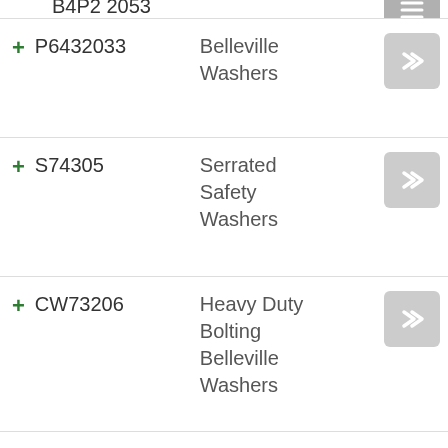P6432033 — Belleville Washers
S74305 — Serrated Safety Washers
CW73206 — Heavy Duty Bolting Belleville Washers
CW83708 — Heavy Duty Bolting Belleville Washers